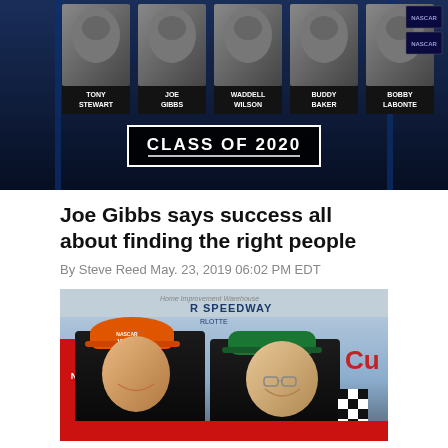[Figure (photo): NASCAR Hall of Fame Class of 2020 inductee display board showing black and white portraits of Tony Stewart, Joe Gibbs, Waddell Wilson, Buddy Baker, and Bobby Labonte with text 'CLASS OF 2020' prominently displayed.]
Joe Gibbs says success all about finding the right people
By Steve Reed May. 23, 2019 06:02 PM EDT
[Figure (photo): Two men smiling at a Charlotte Motor Speedway event. The younger man on the left wears an orange NASCAR Wins cap and dark jacket. The older man on the right wears a green cap and dark jacket. A red banner and checkered flag are visible in the background.]